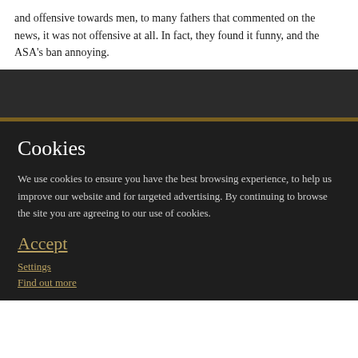and offensive towards men, to many fathers that commented on the news, it was not offensive at all. In fact, they found it funny, and the ASA’s ban annoying.
[Figure (other): Dark gray banner/image placeholder area]
Cookies
We use cookies to ensure you have the best browsing experience, to help us improve our website and for targeted advertising. By continuing to browse the site you are agreeing to our use of cookies.
Accept
Settings
Find out more